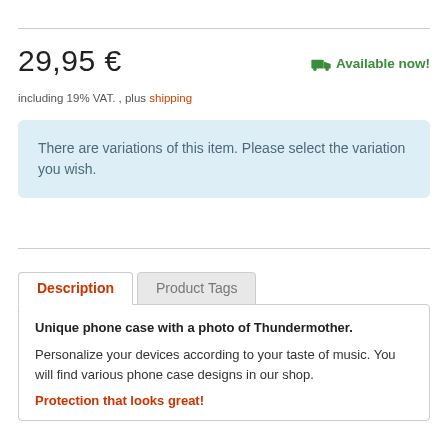29,95 €
Available now!
including 19% VAT. , plus shipping
There are variations of this item. Please select the variation you wish.
Description
Product Tags
Unique phone case with a photo of Thundermother.
Personalize your devices according to your taste of music. You will find various phone case designs in our shop.
Protection that looks great!